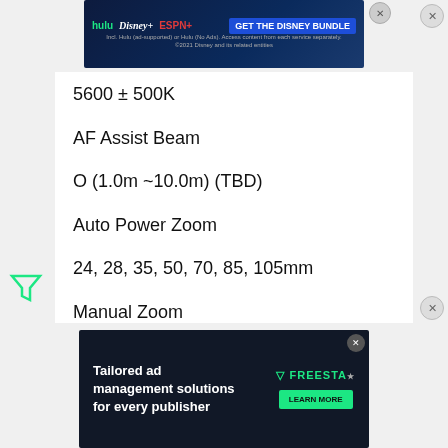[Figure (screenshot): Disney Bundle advertisement banner with Hulu, Disney+, ESPN+ logos and 'GET THE DISNEY BUNDLE' call to action]
5600 ± 500K
AF Assist Beam
O (1.0m ~10.0m) (TBD)
Auto Power Zoom
24, 28, 35, 50, 70, 85, 105mm
Manual Zoom
24, 28, 35, 50, 70, 85, 105mm
Camera Mount
[Figure (screenshot): Freestar ad: 'Tailored ad management solutions for every publisher' with Learn More button]